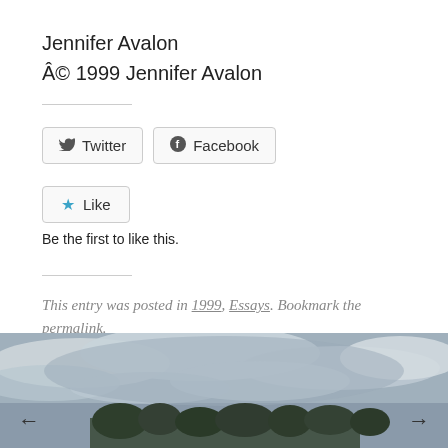Jennifer Avalon
© 1999 Jennifer Avalon
Twitter  Facebook (share buttons)
★ Like
Be the first to like this.
This entry was posted in 1999, Essays. Bookmark the permalink.
[Figure (photo): Cloudy sky with trees at bottom, navigation arrows on left and right sides]